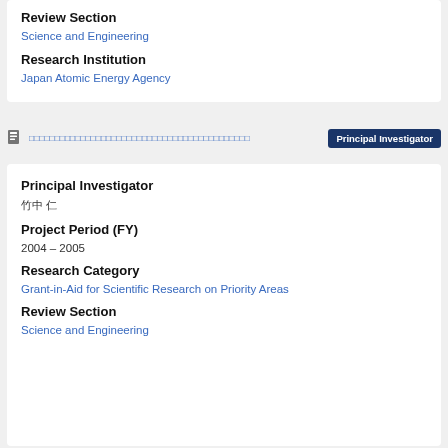Review Section
Science and Engineering
Research Institution
Japan Atomic Energy Agency
Principal Investigator
Principal Investigator
竹中 仁
Project Period (FY)
2004 – 2005
Research Category
Grant-in-Aid for Scientific Research on Priority Areas
Review Section
Science and Engineering